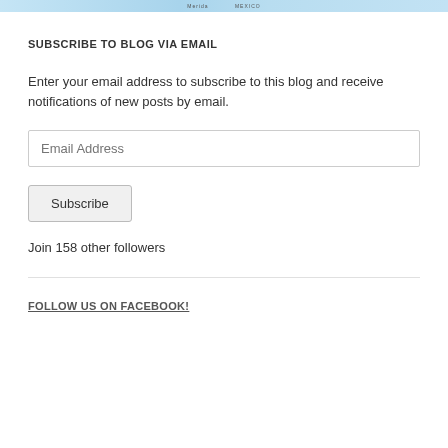[Figure (map): Partial map strip at top of page showing geographic area with blue water/land colors]
SUBSCRIBE TO BLOG VIA EMAIL
Enter your email address to subscribe to this blog and receive notifications of new posts by email.
Join 158 other followers
FOLLOW US ON FACEBOOK!